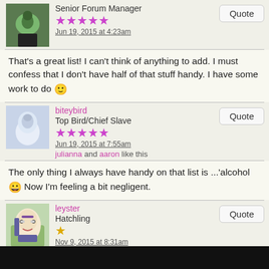Senior Forum Manager
Jun 19, 2015 at 4:23am
That's a great list! I can't think of anything to add. I must confess that I don't have half of that stuff handy. I have some work to do 🙂
biteybird
Top Bird/Chief Slave
Jun 19, 2015 at 7:55am
julianna and aaron like this
The only thing I always have handy on that list is ...'alcohol 😀 Now I'm feeling a bit negligent.
leyster
Hatchling
Nov 9, 2015 at 8:31am
easttex likes this
Thanks for the list. I had some already set aside. I also have an evacuation tub right at my door ready to go with pellets for my quaker, seed mix for my